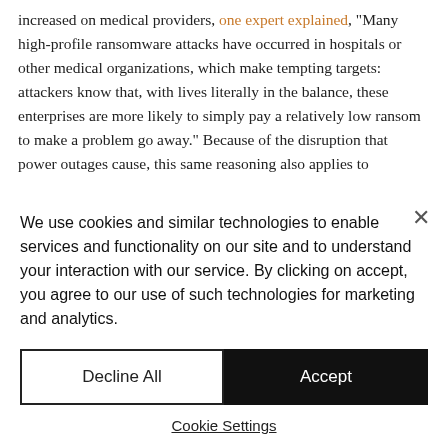increased on medical providers, one expert explained, "Many high-profile ransomware attacks have occurred in hospitals or other medical organizations, which make tempting targets: attackers know that, with lives literally in the balance, these enterprises are more likely to simply pay a relatively low ransom to make a problem go away." Because of the disruption that power outages cause, this same reasoning also applies to
We use cookies and similar technologies to enable services and functionality on our site and to understand your interaction with our service. By clicking on accept, you agree to our use of such technologies for marketing and analytics.
Decline All
Accept
Cookie Settings